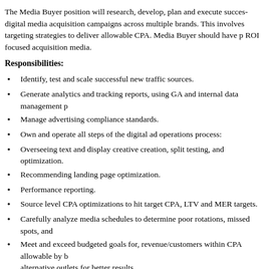The Media Buyer position will research, develop, plan and execute successful digital media acquisition campaigns across multiple brands. This involves targeting strategies to deliver allowable CPA. Media Buyer should have p... ROI focused acquisition media.
Responsibilities:
Identify, test and scale successful new traffic sources.
Generate analytics and tracking reports, using GA and internal data management p...
Manage advertising compliance standards.
Own and operate all steps of the digital ad operations process:
Overseeing text and display creative creation, split testing, and optimization.
Recommending landing page optimization.
Performance reporting.
Source level CPA optimizations to hit target CPA, LTV and MER targets.
Carefully analyze media schedules to determine poor rotations, missed spots, and...
Meet and exceed budgeted goals for, revenue/customers within CPA allowable by b... alternative outlets for better results.
Build and maintain relationships with media vendors to deliver all channel goals...